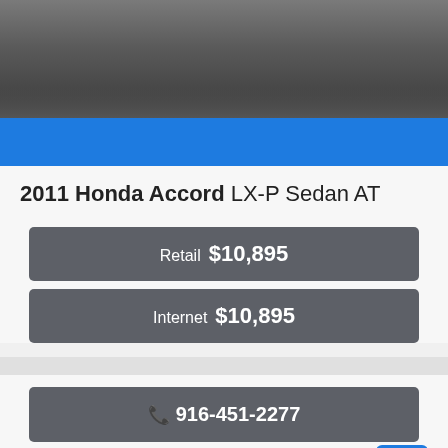[Figure (photo): Gray textured surface (asphalt/road), cropped photo at top of page]
2011 Honda Accord LX-P Sedan AT
Retail  $10,895
Internet  $10,895
📞 916-451-2277
Inquiry
💬 Text Us